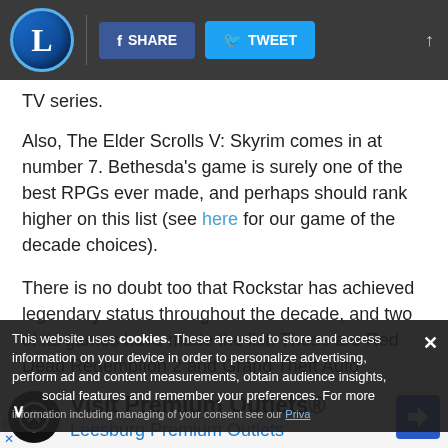L | f SHARE | TWEET
TV series.
Also, The Elder Scrolls V: Skyrim comes in at number 7. Bethesda’s game is surely one of the best RPGs ever made, and perhaps should rank higher on this list (see here for our game of the decade choices).
There is no doubt too that Rockstar has achieved legendary status throughout the decade, and two of its games have made the list. These are Red Dead Redemption 2 and Grand Theft Auto
This website uses cookies. These are used to store and access information on your device in order to personalize advertising, perform ad and content measurements, obtain audience insights, social features and remember your preferences. For more information including managing of your consent see our Privacy
[Figure (infographic): Advertisement for Visit Premium Outlets - Leesburg Premium Outlets with logo and navigation icon]